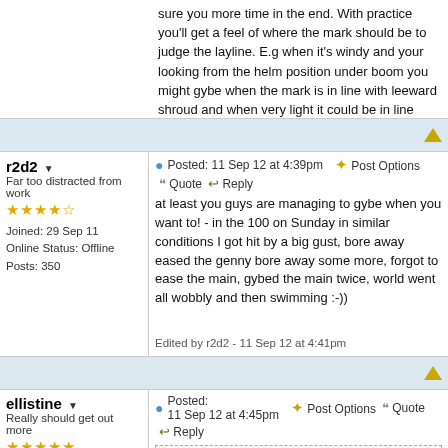sure you more time in the end. With practice you'll get a feel of where the mark should be to judge the layline. E.g when it's windy and your looking from the helm position under boom you might gybe when the mark is in line with leeward shroud and when very light it could be in line with the mainsheet (just examples) but I think its all comes with practice :)
Hope this helps
Alex
r2d2 | Far too distracted from work | Joined: 29 Sep 11 | Online Status: Offline | Posts: 350
Posted: 11 Sep 12 at 4:39pm
at least you guys are managing to gybe when you want to! - in the 100 on Sunday in similar conditions I got hit by a big gust, bore away eased the genny bore away some more, forgot to ease the main, gybed the main twice, world went all wobbly and then swimming :-))

Edited by r2d2 - 11 Sep 12 at 4:41pm
ellistine | Really should get out more
Posted: 11 Sep 12 at 4:45pm
Originally posted by r2d2